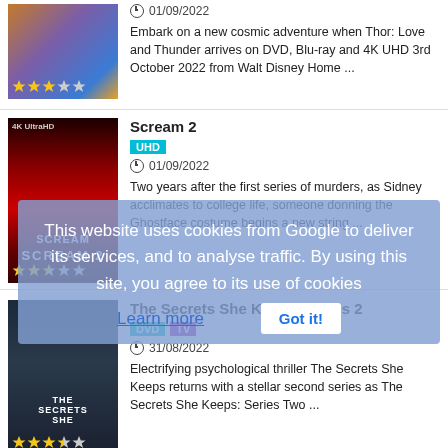[Figure (photo): Thor Love and Thunder DVD cover with star rating overlay (3/5 stars)]
01/09/2022
Embark on a new cosmic adventure when Thor: Love and Thunder arrives on DVD, Blu-ray and 4K UHD 3rd October 2022 from Walt Disney Home ...
Scream 2
UHD
01/09/2022
Two years after the first series of murders, as Sidney acclimates to college life, someone donning the Ghostface costume begins a new string ...
[Figure (photo): Scream 2 4K UHD cover with Ghostface mask imagery and star rating (2/5 stars)]
This website uses cookies from Google to deliver its services, and to analyse traffic. By using this site, you agree to its use of cookies Learn more Got it!
The Secrets She Keeps: Series 2
DVD TV
31/08/2022
Electrifying psychological thriller The Secrets She Keeps returns with a stellar second series as The Secrets She Keeps: Series Two ...
[Figure (photo): The Secrets She Keeps Series 2 DVD cover with star rating (3.5/5 stars)]